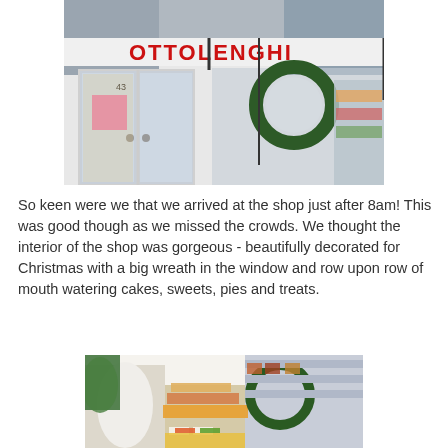[Figure (photo): Exterior of Ottolenghi delicatessen shop with white facade, large glass doors, red logo lettering, and a Christmas wreath in the window display.]
So keen were we that we arrived at the shop just after 8am! This was good though as we missed the crowds. We thought the interior of the shop was gorgeous - beautifully decorated for Christmas with a big wreath in the window and row upon row of mouth watering cakes, sweets, pies and treats.
[Figure (photo): Interior of Ottolenghi shop showing display tables covered with colourful cakes, sweets, pies and treats, with a Christmas wreath visible and shelves of food in the background.]